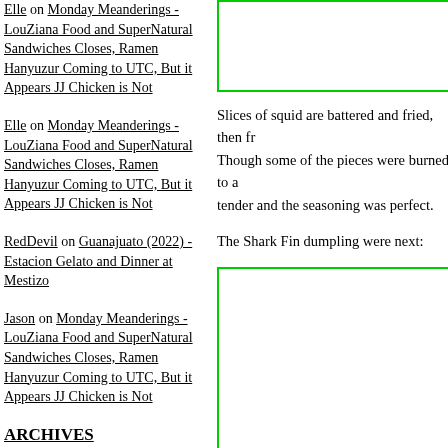Elle on Monday Meanderings - LouZiana Food and SuperNatural Sandwiches Closes, Ramen Hanyuzur Coming to UTC, But it Appears JJ Chicken is Not
Elle on Monday Meanderings - LouZiana Food and SuperNatural Sandwiches Closes, Ramen Hanyuzur Coming to UTC, But it Appears JJ Chicken is Not
RedDevil on Guanajuato (2022) - Estacion Gelato and Dinner at Mestizo
Jason on Monday Meanderings - LouZiana Food and SuperNatural Sandwiches Closes, Ramen Hanyuzur Coming to UTC, But it Appears JJ Chicken is Not
ARCHIVES
August 2022
July 2022
June 2022
Slices of squid are battered and fried, then fr... Though some of the pieces were burned to a... tender and the seasoning was perfect.
[Figure (photo): Photo box top - green border, appears to be a food image (partially visible)]
The Shark Fin dumpling were next:
[Figure (photo): Photo box bottom - green border, appears to be a food image of dumplings]
These dumplings were stuffed with bean thr...